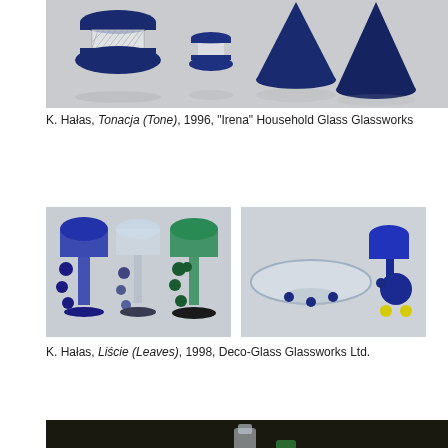[Figure (photo): Photo of blue glass objects including vases and decorative items arranged on a light grey surface, from Tonacja (Tone) collection]
K. Hałas, Tonacja (Tone), 1996, "Irena" Household Glass Glassworks
[Figure (photo): Photo of blue and green glass goblets/chalices with decorative elements on stems, Liście (Leaves) collection]
[Figure (photo): Photo of blue glass decorative objects including a bowl, vase-like and spherical pieces with yellow accents, Liście (Leaves) collection]
K. Hałas, Liście (Leaves), 1998, Deco-Glass Glassworks Ltd.
[Figure (photo): Photo of glass objects on a dark background including a clear cylindrical bottle and a green glass piece]